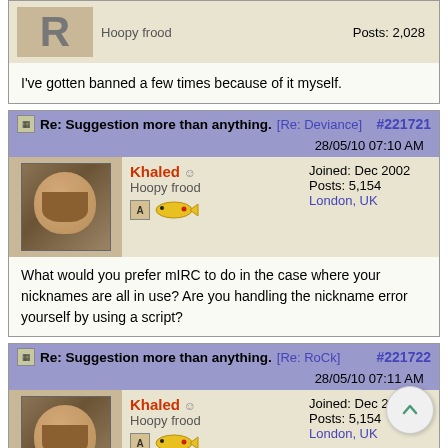Hoopy frood   Posts: 2,028
I've gotten banned a few times because of it myself.
Re: Suggestion more than anything. [Re: Deviance] 28/05/10 07:10 AM #221721
Khaled ☺ Hoopy frood   Joined: Dec 2002 Posts: 5,154 London, UK
What would you prefer mIRC to do in the case where your nicknames are all in use? Are you handling the nickname error yourself by using a script?
Re: Suggestion more than anything. [Re: RoCk] 28/05/10 07:11 AM #221722
Khaled ☺ Hoopy frood   Joined: Dec 2002 Posts: 5,154 London, UK
Why would you get banned for logging on with a usable nickname?